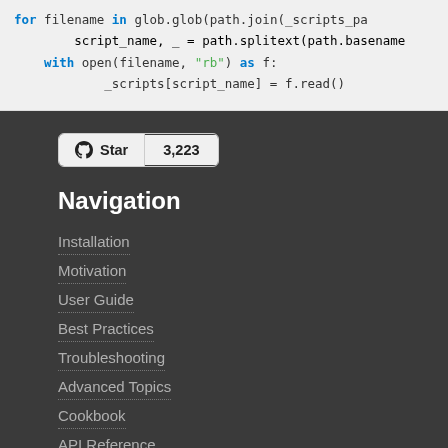[Figure (screenshot): Code block showing Python script with for loop, path.splitext, with open, and _scripts dictionary assignment. Keywords in blue bold, string 'rb' in green.]
[Figure (screenshot): GitHub Star button with count 3,223 on dark background]
Navigation
Installation
Motivation
User Guide
Best Practices
Troubleshooting
Advanced Topics
Cookbook
API Reference